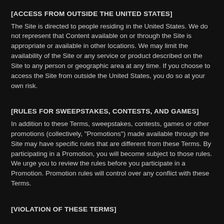[ACCESS FROM OUTSIDE THE UNITED STATES]
The Site is directed to people residing in the United States. We do not represent that Content available on or through the Site is appropriate or available in other locations. We may limit the availability of the Site or any service or product described on the Site to any person or geographic area at any time. If you choose to access the Site from outside the United States, you do so at your own risk.
[RULES FOR SWEEPSTAKES, CONTESTS, AND GAMES]
In addition to these Terms, sweepstakes, contests, games or other promotions (collectively, "Promotions") made available through the Site may have specific rules that are different from these Terms. By participating in a Promotion, you will become subject to those rules. We urge you to review the rules before you participate in a Promotion. Promotion rules will control over any conflict with these Terms.
[VIOLATION OF THESE TERMS]